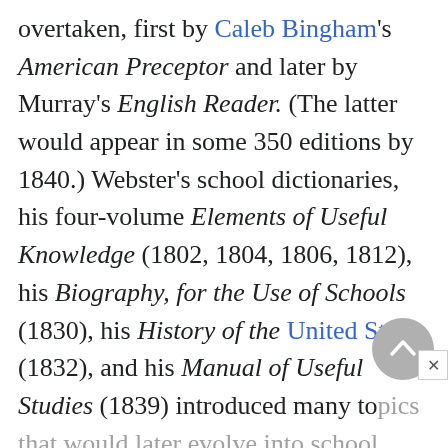overtaken, first by Caleb Bingham's American Preceptor and later by Murray's English Reader. (The latter would appear in some 350 editions by 1840.) Webster's school dictionaries, his four-volume Elements of Useful Knowledge (1802, 1804, 1806, 1812), his Biography, for the Use of Schools (1830), his History of the United States (1832), and his Manual of Useful Studies (1839) introduced many topics that would later evolve into school staples: geography and history of the